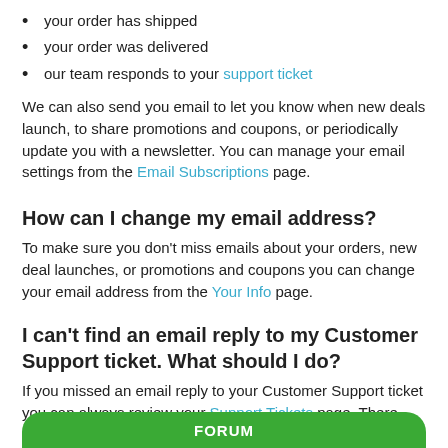your order has shipped
your order was delivered
our team responds to your support ticket
We can also send you email to let you know when new deals launch, to share promotions and coupons, or periodically update you with a newsletter. You can manage your email settings from the Email Subscriptions page.
How can I change my email address?
To make sure you don't miss emails about your orders, new deal launches, or promotions and coupons you can change your email address from the Your Info page.
I can't find an email reply to my Customer Support ticket. What should I do?
If you missed an email reply to your Customer Support ticket you can always review your Support Tickets page. There you will find a full history of your Customer Support interactions.
FORUM